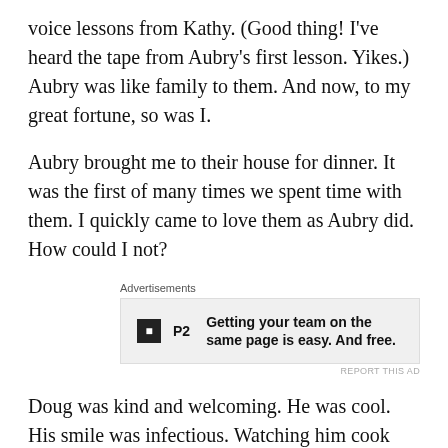voice lessons from Kathy. (Good thing! I've heard the tape from Aubry's first lesson. Yikes.) Aubry was like family to them. And now, to my great fortune, so was I.
Aubry brought me to their house for dinner. It was the first of many times we spent time with them. I quickly came to love them as Aubry did. How could I not?
[Figure (other): Advertisement banner for P2 service: 'Getting your team on the same page is easy. And free.']
Doug was kind and welcoming. He was cool. His smile was infectious. Watching him cook something (and then getting to share it!) was a treat. Doug was the kind of guy who always had a REASON to carry his pocket knife or multitool – something needs to be done? Doug was ready. He was the kind of guy you just want to hang around with